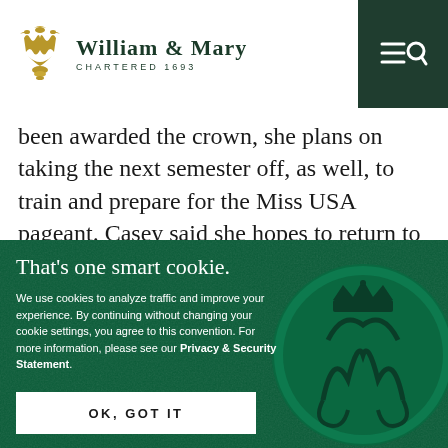William & Mary — Chartered 1693
been awarded the crown, she plans on taking the next semester off, as well, to train and prepare for the Miss USA pageant. Casey said she hopes to return to
[Figure (screenshot): Cookie consent overlay on William & Mary website with dark green textured background, William & Mary wax seal on right, text 'That's one smart cookie.' and cookie consent information, OK GOT IT button]
That's one smart cookie.
We use cookies to analyze traffic and improve your experience. By continuing without changing your cookie settings, you agree to this convention. For more information, please see our Privacy & Security Statement.